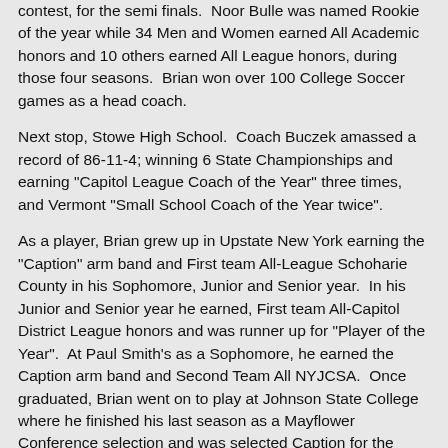contest, for the semi finals.  Noor Bulle was named Rookie of the year while 34 Men and Women earned All Academic honors and 10 others earned All League honors, during those four seasons.  Brian won over 100 College Soccer games as a head coach.
Next stop, Stowe High School.  Coach Buczek amassed a record of 86-11-4; winning 6 State Championships and earning "Capitol League Coach of the Year" three times, and Vermont "Small School Coach of the Year twice".
As a player, Brian grew up in Upstate New York earning the "Caption" arm band and First team All-League Schoharie County in his Sophomore, Junior and Senior year.  In his Junior and Senior year he earned, First team All-Capitol District League honors and was runner up for "Player of the Year".  At Paul Smith's as a Sophomore, he earned the Caption arm band and Second Team All NYJCSA.  Once graduated, Brian went on to play at Johnson State College where he finished his last season as a Mayflower Conference selection and was selected Caption for the teams 12 straight league title!
Brian is the Physical Education Teacher and Athletic Director at Bishop Marshall School.